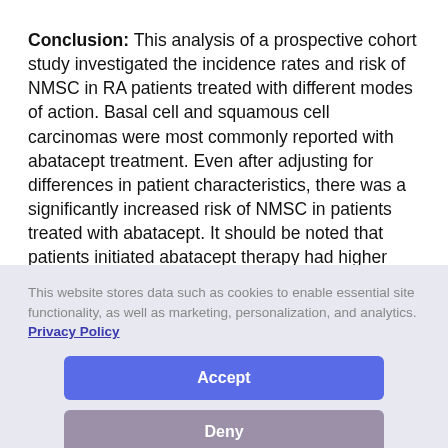Conclusion: This analysis of a prospective cohort study investigated the incidence rates and risk of NMSC in RA patients treated with different modes of action. Basal cell and squamous cell carcinomas were most commonly reported with abatacept treatment. Even after adjusting for differences in patient characteristics, there was a significantly increased risk of NMSC in patients treated with abatacept. It should be noted that patients initiated abatacept therapy had higher burden of comorbidity and considerable differences compared to all other treatment options.
This website stores data such as cookies to enable essential site functionality, as well as marketing, personalization, and analytics. Privacy Policy
Accept
Deny